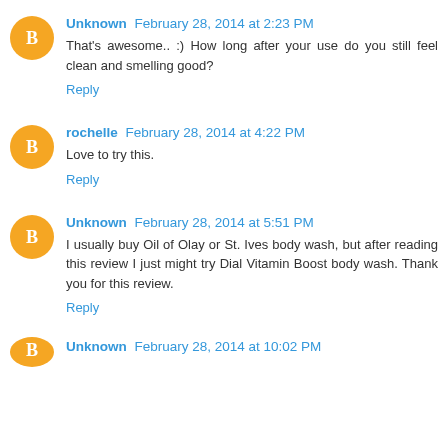Unknown February 28, 2014 at 2:23 PM
That's awesome.. :) How long after your use do you still feel clean and smelling good?
Reply
rochelle February 28, 2014 at 4:22 PM
Love to try this.
Reply
Unknown February 28, 2014 at 5:51 PM
I usually buy Oil of Olay or St. Ives body wash, but after reading this review I just might try Dial Vitamin Boost body wash. Thank you for this review.
Reply
Unknown February 28, 2014 at 10:02 PM